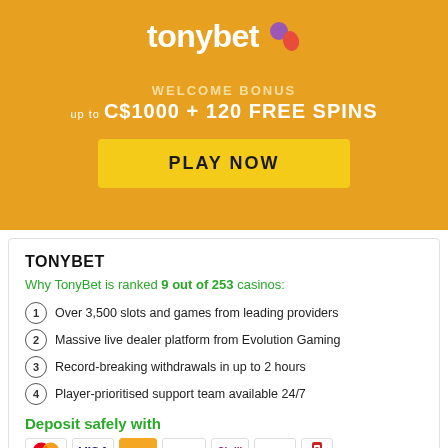[Figure (logo): TonyBet logo with balloon/flame icon in purple and orange-red on golden/amber background]
WELCOME BONUS
UP TO C$1000 + 120 FREE SPINS
PLAY NOW
TONYBET
Why TonyBet is ranked 9 out of 253 casinos:
Over 3,500 slots and games from leading providers
Massive live dealer platform from Evolution Gaming
Record-breaking withdrawals in up to 2 hours
Player-prioritised support team available 24/7
Deposit safely with
[Figure (illustration): Payment method icons: Mastercard, VISA, Interac, Neteller, Skrill, InstaDebit, paysafecard]